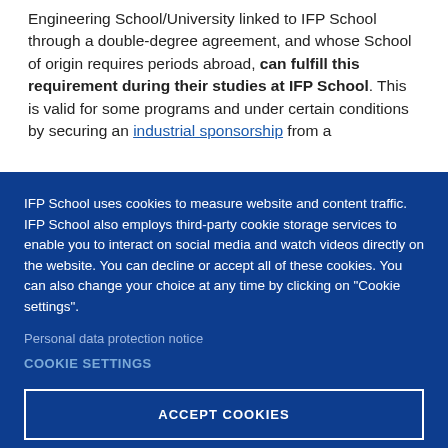Engineering School/University linked to IFP School through a double-degree agreement, and whose School of origin requires periods abroad, can fulfill this requirement during their studies at IFP School. This is valid for some programs and under certain conditions by securing an industrial sponsorship from a
IFP School uses cookies to measure website and content traffic. IFP School also employs third-party cookie storage services to enable you to interact on social media and watch videos directly on the website. You can decline or accept all of these cookies. You can also change your choice at any time by clicking on "Cookie settings".
Personal data protection notice
COOKIE SETTINGS
ACCEPT COOKIES
DECLINE COOKIES